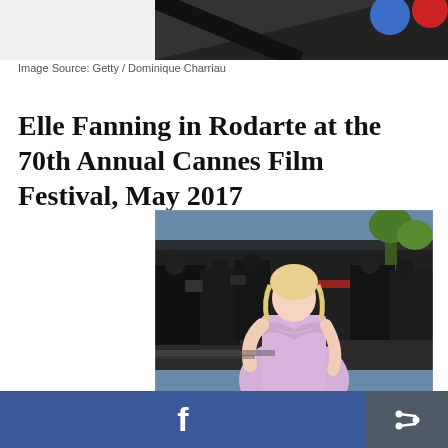[Figure (photo): Partial view of a photo at the top of the page, appears to be a cropped bottom portion of a red carpet or event photo]
Image Source: Getty / Dominique Charriau
Elle Fanning in Rodarte at the 70th Annual Cannes Film Festival, May 2017
[Figure (photo): Elle Fanning in a light lavender/lilac strapless ball gown at the Cannes Film Festival red carpet, surrounded by photographers]
f  [Facebook share button] [Share icon button]